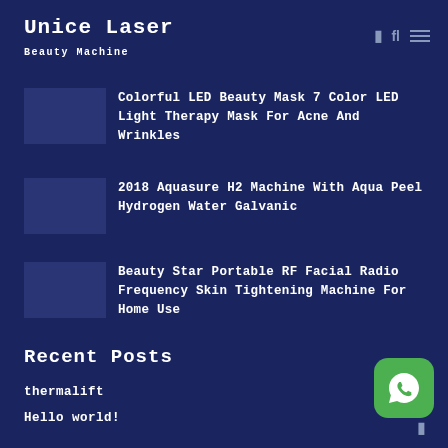Unice Laser
Beauty Machine
Colorful LED Beauty Mask 7 Color LED Light Therapy Mask For Acne And Wrinkles
2018 Aquasure H2 Machine With Aqua Peel Hydrogen Water Galvanic
Beauty Star Portable RF Facial Radio Frequency Skin Tightening Machine For Home Use
Recent Posts
thermalift
Hello world!
[Figure (logo): WhatsApp button icon in green rounded square]